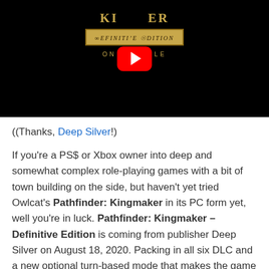[Figure (screenshot): YouTube video thumbnail for Pathfinder: Kingmaker Definitive Edition on Console, showing game title text, Definitive Edition badge, 'ON CONSOLE' text, and a red YouTube play button overlay on a dark background]
((Thanks, Deep Silver!)
If you're a PS$ or Xbox owner into deep and somewhat complex role-playing games with a bit of town building on the side, but haven't yet tried Owlcat's Pathfinder: Kingmaker in its PC form yet, well you're in luck. Pathfinder: Kingmaker – Definitive Edition is coming from publisher Deep Silver on August 18, 2020. Packing in all six DLC and a new optional turn-based mode that makes the game feel more like the tabletop version, this looks like it'll keep some of us indoors even longer (which